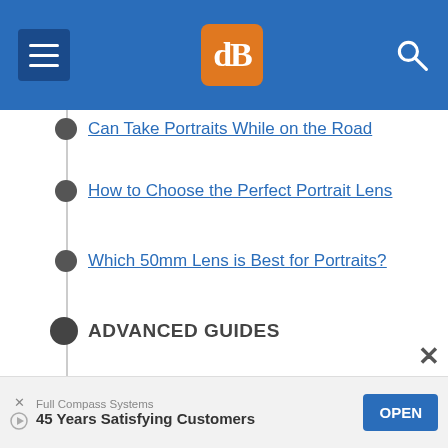dPS website header with hamburger menu, logo, and search icon
Can Take Portraits While on the Road
How to Choose the Perfect Portrait Lens
Which 50mm Lens is Best for Portraits?
ADVANCED GUIDES
13 Tips for Improving Outdoor Portraits
Create Beautiful Indoor Portraits Without Flash (NSFW)
10 Tips for Photographing Great Headshots
3 Simple Ways to Create Stunning Eyes in Your Portrait Photography
Full Compass Systems — 45 Years Satisfying Customers — OPEN